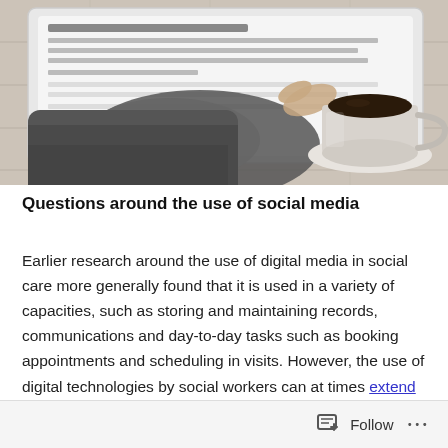[Figure (photo): A person's hands using a tablet on a wooden table, with a cup of black coffee on a white saucer in the upper right corner.]
Questions around the use of social media
Earlier research around the use of digital media in social care more generally found that it is used in a variety of capacities, such as storing and maintaining records, communications and day-to-day tasks such as booking appointments and scheduling in visits. However, the use of digital technologies by social workers can at times extend beyond simply maintaining records and scheduling visits
Follow ...